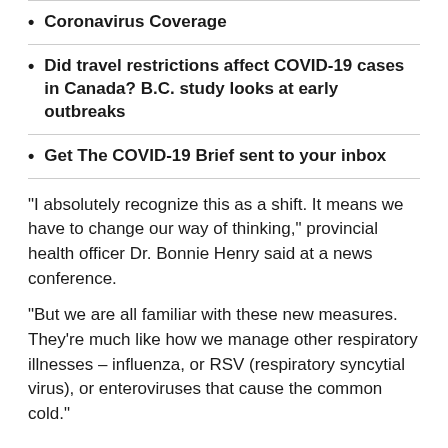Coronavirus Coverage
Did travel restrictions affect COVID-19 cases in Canada? B.C. study looks at early outbreaks
Get The COVID-19 Brief sent to your inbox
"I absolutely recognize this as a shift. It means we have to change our way of thinking," provincial health officer Dr. Bonnie Henry said at a news conference.
"But we are all familiar with these new measures. They're much like how we manage other respiratory illnesses – influenza, or RSV (respiratory syncytial virus), or enteroviruses that cause the common cold."